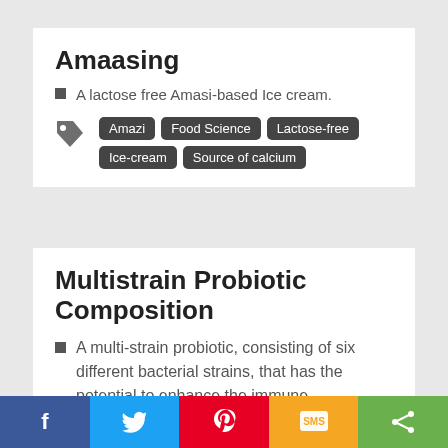Amaasing
A lactose free Amasi-based Ice cream.
Tags: Amazi, Food Science, Lactose-free, Ice-cream, Source of calcium
Multistrain Probiotic Composition
A multi-strain probiotic, consisting of six different bacterial strains, that has the potential to enhance the immune responsiveness of broiler chickens and
Social share bar: Facebook, Twitter, Pinterest, SMS, Share